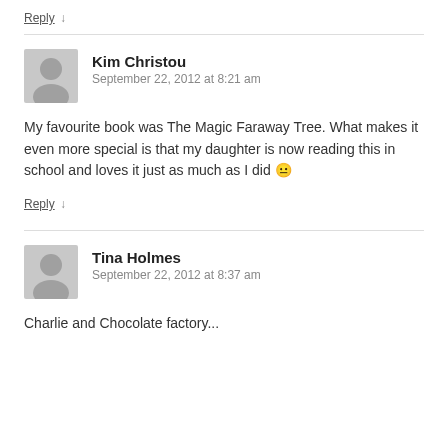Reply ↓
Kim Christou
September 22, 2012 at 8:21 am
My favourite book was The Magic Faraway Tree. What makes it even more special is that my daughter is now reading this in school and loves it just as much as I did 😐
Reply ↓
Tina Holmes
September 22, 2012 at 8:37 am
Charlie and Chocolate factory...